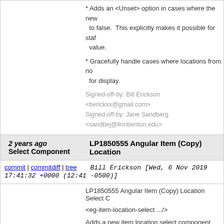* Adds an <Unset> option in cases where the new value default is set to false. This explicitly makes it possible for staff to unset the value.
* Gracefully handle cases where locations from non-visible orgs are used for display.
Signed-off-by: Bill Erickson <berickxx@gmail.com>
Signed-off-by: Jane Sandberg <sandbej@linnbenton.edu>
2 years ago  LP1850555 Angular Item (Copy) Location Select Component
commit | commitdiff | tree  Bill Erickson [Wed, 6 Nov 2019 17:41:32 +0000 (12:41 -0500)]
LP1850555 Angular Item (Copy) Location Select C...
<eg-item-location-select .../>
Adds a new item location select component which displayed locations based on a permission-check org or a specific context org unit.
Values in the selector are decorated with the org u parens after the location name to clarify the owning